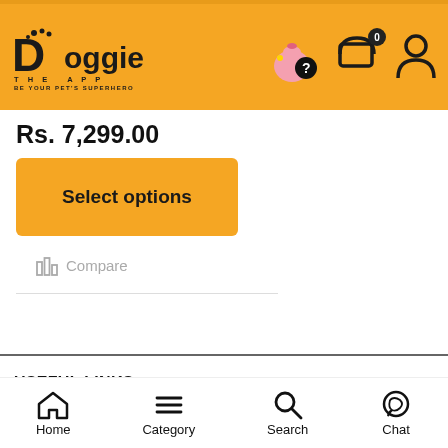Doggie The App — BE YOUR PET'S SUPERHERO
Rs. 7,299.00
Select options
Compare
USEFUL LINKS
Home | Category | Search | Chat